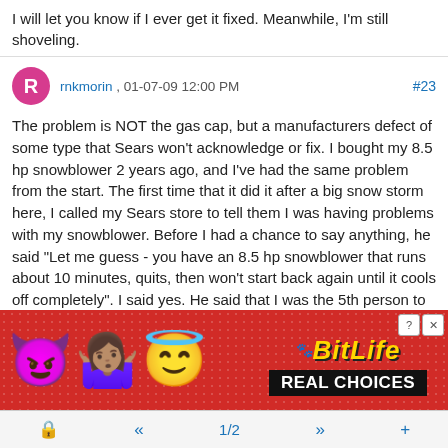I will let you know if I ever get it fixed. Meanwhile, I'm still shoveling.
rnkmorin , 01-07-09 12:00 PM  #23
The problem is NOT the gas cap, but a manufacturers defect of some type that Sears won't acknowledge or fix. I bought my 8.5 hp snowblower 2 years ago, and I've had the same problem from the start. The first time that it did it after a big snow storm here, I called my Sears store to tell them I was having problems with my snowblower. Before I had a chance to say anything, he said "Let me guess - you have an 8.5 hp snowblower that runs about 10 minutes, quits, then won't start back again until it cools off completely". I said yes. He said that I was the 5th person to call that morning (they had only been open a half hour), and that HE was the first one to
[Figure (screenshot): Advertisement banner for BitLife mobile game showing emoji characters (devil, person, angel) and sperm emoji on red polka-dot background. Text reads BitLife and REAL CHOICES.]
🔒  «  1/2  »  +